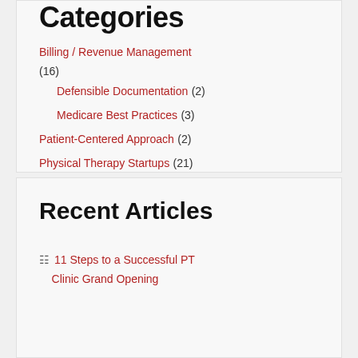Categories
Billing / Revenue Management (16)
Defensible Documentation (2)
Medicare Best Practices (3)
Patient-Centered Approach (2)
Physical Therapy Startups (21)
PT Business Plan (10)
Recent Articles
11 Steps to a Successful PT Clinic Grand Opening